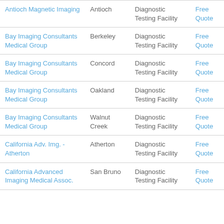| Antioch Magnetic Imaging | Antioch | Diagnostic Testing Facility | Free Quote |
| Bay Imaging Consultants Medical Group | Berkeley | Diagnostic Testing Facility | Free Quote |
| Bay Imaging Consultants Medical Group | Concord | Diagnostic Testing Facility | Free Quote |
| Bay Imaging Consultants Medical Group | Oakland | Diagnostic Testing Facility | Free Quote |
| Bay Imaging Consultants Medical Group | Walnut Creek | Diagnostic Testing Facility | Free Quote |
| California Adv. Img. - Atherton | Atherton | Diagnostic Testing Facility | Free Quote |
| California Advanced Imaging Medical Assoc. | San Bruno | Diagnostic Testing Facility | Free Quote |